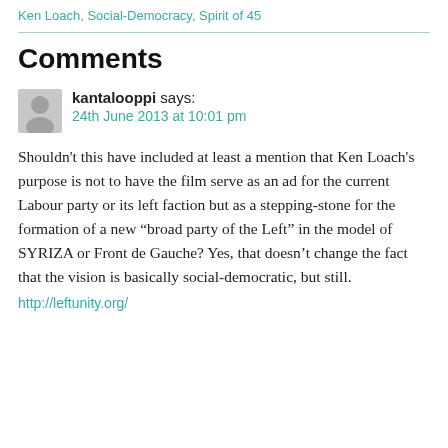Ken Loach, Social-Democracy, Spirit of 45
Comments
kantalooppi says:
24th June 2013 at 10:01 pm

Shouldn't this have included at least a mention that Ken Loach's purpose is not to have the film serve as an ad for the current Labour party or its left faction but as a stepping-stone for the formation of a new “broad party of the Left” in the model of SYRIZA or Front de Gauche? Yes, that doesn’t change the fact that the vision is basically social-democratic, but still.
http://leftunity.org/